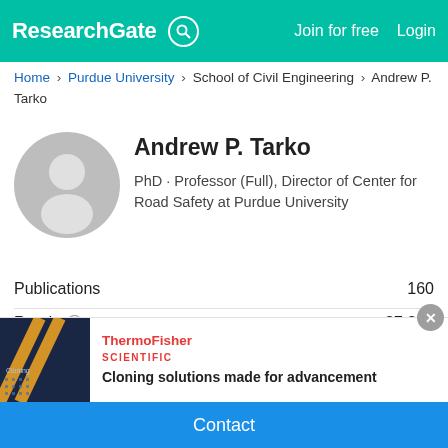ResearchGate | Join for free | Login
Home > Purdue University > School of Civil Engineering > Andrew P. Tarko
Andrew P. Tarko
PhD · Professor (Full), Director of Center for Road Safety at Purdue University
Publications  160
Reads  37,351
Advertisement
[Figure (photo): ThermoFisher Scientific advertisement image - dark background with yellow diagonal lines]
ThermoFisher SCIENTIFIC
Cloning solutions made for advancement
Contact